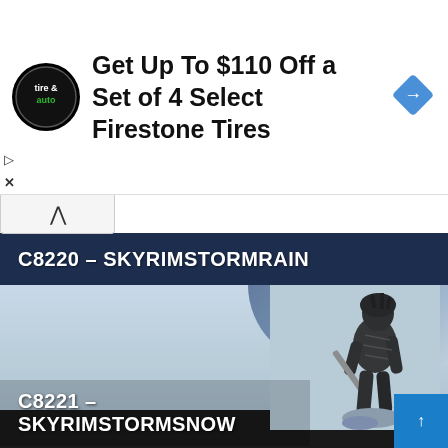[Figure (screenshot): Advertisement banner: Firestone Tire & Auto logo (circular black badge with green 'tire & auto' text), ad headline 'Get Up To $110 Off a Set of 4 Select Firestone Tires', and a blue diamond navigation icon on the right]
Get Up To $110 Off a Set of 4 Select Firestone Tires
[Figure (screenshot): Collapse/minimize chevron button bar]
C8220 - SKYRIMSTORMRAIN
[Figure (photo): Skyrim game screenshot showing an armored warrior character holding a sword, standing against a pale blue-grey sky background]
C8221 - SKYRIMSTORMSNOW